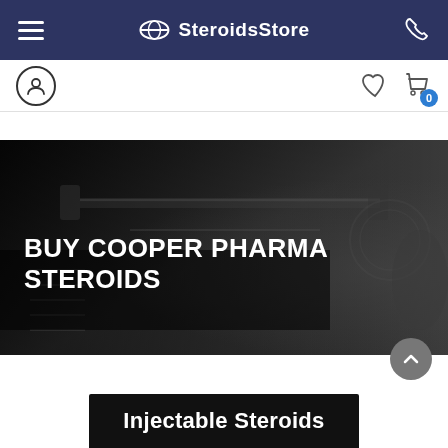SteroidsStore — navigation bar with hamburger menu, logo, and phone icon
[Figure (screenshot): Icon row with user profile circle icon on left, heart icon and shopping cart icon with badge '0' on right]
[Figure (photo): Dark grayscale gym/weights background hero banner with bold white text 'BUY COOPER PHARMA STEROIDS']
BUY COOPER PHARMA STEROIDS
[Figure (photo): Partial bottom banner with dark background, showing partial text 'Injectable Steroids']